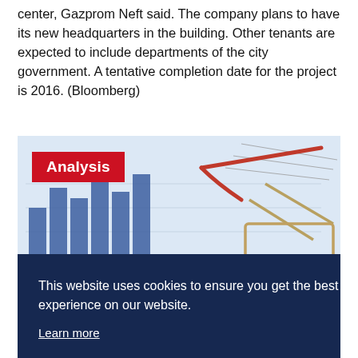center, Gazprom Neft said. The company plans to have its new headquarters in the building. Other tenants are expected to include departments of the city government. A tentative completion date for the project is 2016. (Bloomberg)
[Figure (photo): Photo of a small shopping cart on top of financial charts/graphs, with blue bar chart stripes visible. A red 'Analysis' label badge is overlaid in the top-left corner of the image.]
This website uses cookies to ensure you get the best experience on our website.
Learn more
Decline   Allow cookies